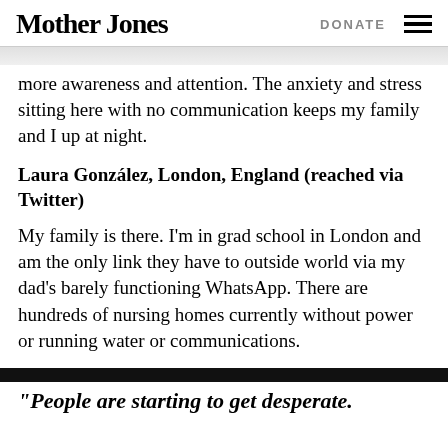Mother Jones | DONATE
more awareness and attention. The anxiety and stress sitting here with no communication keeps my family and I up at night.
Laura González, London, England (reached via Twitter)
My family is there. I'm in grad school in London and am the only link they have to outside world via my dad's barely functioning WhatsApp. There are hundreds of nursing homes currently without power or running water or communications.
“People are starting to get desperate.